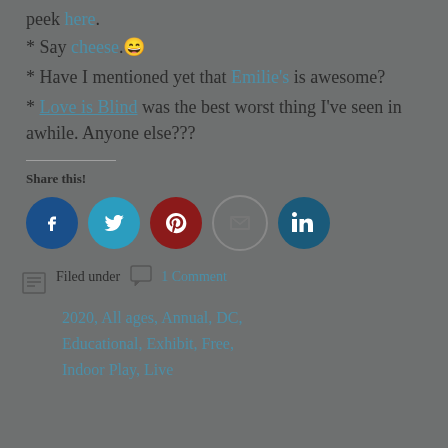peek here.
* Say cheese. 😄
* Have I mentioned yet that Emilie's is awesome?
* Love is Blind was the best worst thing I've seen in awhile. Anyone else???
Share this!
[Figure (infographic): Social sharing icons: Facebook, Twitter, Pinterest, Email, LinkedIn]
Filed under  1 Comment 2020, All ages, Annual, DC, Educational, Exhibit, Free, Indoor Play, Live